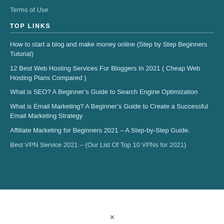Terms of Use
TOP LINKS
How to start a blog and make money online (Step by Step Beginners Tutorial)
12 Best Web Hosting Services For Bloggers In 2021 ( Cheap Web Hosting Plans Compared )
What is SEO? A Beginner's Guide to Search Engine Optimization
What is Email Marketing? A Beginner's Guide to Create a Successful Email Marketing Strategy
Affiliate Marketing for Beginners 2021 – A Step-by-Step Guide.
Best VPN Service 2021 – (Our List Of Top 10 VPNs for 2021)